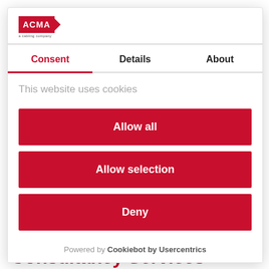[Figure (logo): ACMA logo with red background and tagline]
Consent | Details | About
This website uses cookies
Allow all
Allow selection
Deny
Powered by Cookiebot by Usercentrics
Consultancy Services